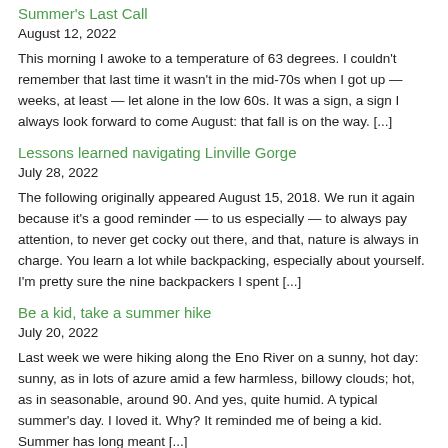Summer's Last Call
August 12, 2022
This morning I awoke to a temperature of 63 degrees. I couldn't remember that last time it wasn't in the mid-70s when I got up — weeks, at least — let alone in the low 60s. It was a sign, a sign I always look forward to come August: that fall is on the way.  [...]
Lessons learned navigating Linville Gorge
July 28, 2022
The following originally appeared August 15, 2018. We run it again because it's a good reminder — to us especially — to always pay attention, to never get cocky out there, and that, nature is always in charge. You learn a lot while backpacking, especially about yourself. I'm pretty sure the nine backpackers I spent [...]
Be a kid, take a summer hike
July 20, 2022
Last week we were hiking along the Eno River on a sunny, hot day: sunny, as in lots of azure amid a few harmless, billowy clouds; hot, as in seasonable, around 90. And yes, quite humid. A typical summer's day. I loved it. Why? It reminded me of being a kid. Summer has long meant [...]
GetOut! It's a DIY Weekend